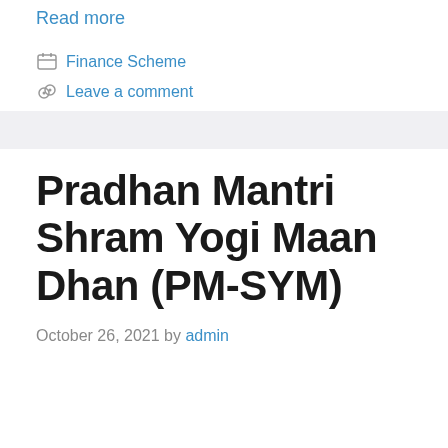Read more
Finance Scheme
Leave a comment
Pradhan Mantri Shram Yogi Maan Dhan (PM-SYM)
October 26, 2021 by admin